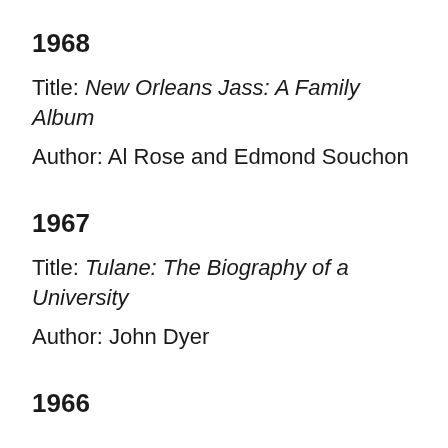1968
Title: New Orleans Jass: A Family Album
Author: Al Rose and Edmond Souchon
1967
Title: Tulane: The Biography of a University
Author: John Dyer
1966